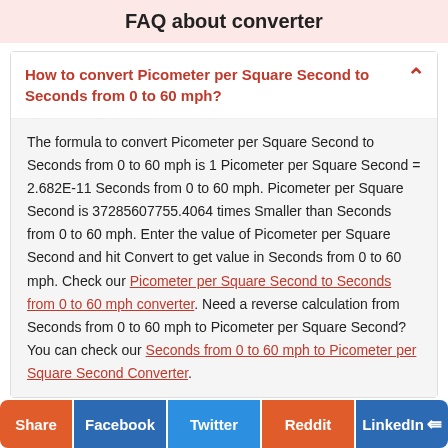FAQ about converter
How to convert Picometer per Square Second to Seconds from 0 to 60 mph?
The formula to convert Picometer per Square Second to Seconds from 0 to 60 mph is 1 Picometer per Square Second = 2.682E-11 Seconds from 0 to 60 mph. Picometer per Square Second is 37285607755.4064 times Smaller than Seconds from 0 to 60 mph. Enter the value of Picometer per Square Second and hit Convert to get value in Seconds from 0 to 60 mph. Check our Picometer per Square Second to Seconds from 0 to 60 mph converter. Need a reverse calculation from Seconds from 0 to 60 mph to Picometer per Square Second? You can check our Seconds from 0 to 60 mph to Picometer per Square Second Converter.
Share | Facebook | Twitter | Reddit | LinkedIn